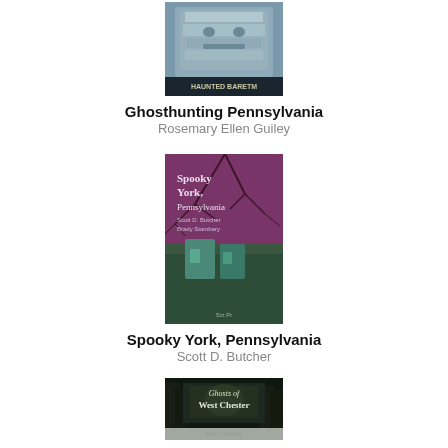[Figure (photo): Book cover of Ghosthunting Pennsylvania showing a stone or wooden carved face/head in gray tones with text 'HAUNTED BARETM' at the bottom]
Ghosthunting Pennsylvania
Rosemary Ellen Guiley
[Figure (photo): Book cover of Spooky York, Pennsylvania showing a colorful image with text on a building with tree branches, purple and green tones. Authors: Scott D. Butcher, Brady Stambery]
Spooky York, Pennsylvania
Scott D. Butcher
[Figure (photo): Partial book cover of Ghosts of West Chester showing a dark wooded scene with text 'Ghosts of West Chester' visible, partially cut off at the bottom of the page]